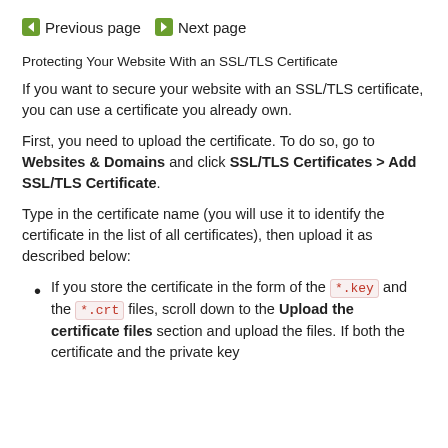Previous page   Next page
Protecting Your Website With an SSL/TLS Certificate
If you want to secure your website with an SSL/TLS certificate, you can use a certificate you already own.
First, you need to upload the certificate. To do so, go to Websites & Domains and click SSL/TLS Certificates > Add SSL/TLS Certificate.
Type in the certificate name (you will use it to identify the certificate in the list of all certificates), then upload it as described below:
If you store the certificate in the form of the *.key and the *.crt files, scroll down to the Upload the certificate files section and upload the files. If both the certificate and the private key